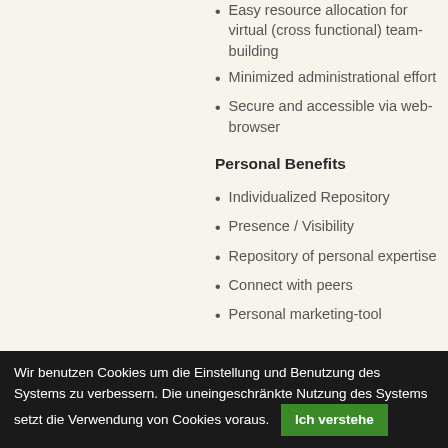Easy resource allocation for virtual (cross functional) team-building
Minimized administrational effort
Secure and accessible via web-browser
Personal Benefits
Individualized Repository
Presence / Visibility
Repository of personal expertise
Connect with peers
Personal marketing-tool
Wir benutzen Cookies um die Einstellung und Benutzung des Systems zu verbessern. Die uneingeschränkte Nutzung des Systems setzt die Verwendung von Cookies voraus. Ich verstehe